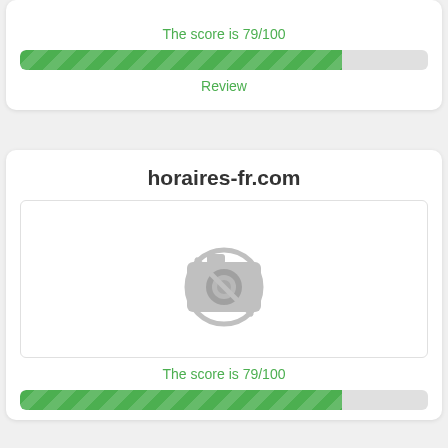The score is 79/100
[Figure (other): Green striped progress bar at 79%]
Review
horaires-fr.com
[Figure (photo): No image available placeholder with camera-off icon]
The score is 79/100
[Figure (other): Green striped progress bar at 79%]